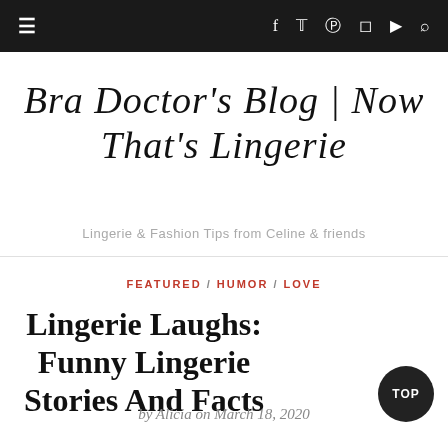≡  f  𝐭  ⓟ  ☐  ▶  🔍
Bra Doctor's Blog | Now That's Lingerie
Lingerie & Fashion Tips from Celine & friends
FEATURED / HUMOR / LOVE
Lingerie Laughs: Funny Lingerie Stories And Facts
by Alicia on March 18, 2020